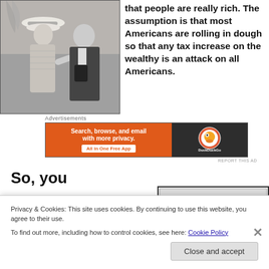[Figure (photo): Black and white photo of a woman in a large hat and a man in a dark jacket, posed together outdoors]
that people are really rich. The assumption is that most Americans are rolling in dough so that any tax increase on the wealthy is an attack on all Americans.
Advertisements
[Figure (screenshot): DuckDuckGo advertisement banner: orange background with text 'Search, browse, and email with more privacy. All in One Free App' and DuckDuckGo logo on dark background]
REPORT THIS AD
So, you
Privacy & Cookies: This site uses cookies. By continuing to use this website, you agree to their use.
To find out more, including how to control cookies, see here: Cookie Policy
Close and accept